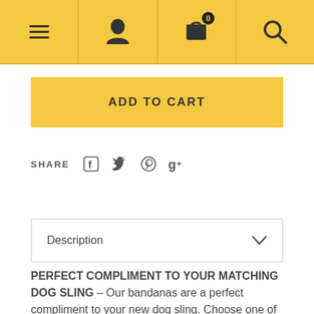[Figure (screenshot): Navigation bar with hamburger menu, user icon, shopping cart with badge showing 0, and search icon on yellow background]
[Figure (screenshot): Yellow ADD TO CART button]
SHARE
[Figure (screenshot): Social share icons: Facebook, Twitter, Pinterest, Google+]
Description
PERFECT COMPLIMENT TO YOUR MATCHING DOG SLING – Our bandanas are a perfect compliment to your new dog sling. Choose one of the same fabric to rock a matching style, or switch things up for an